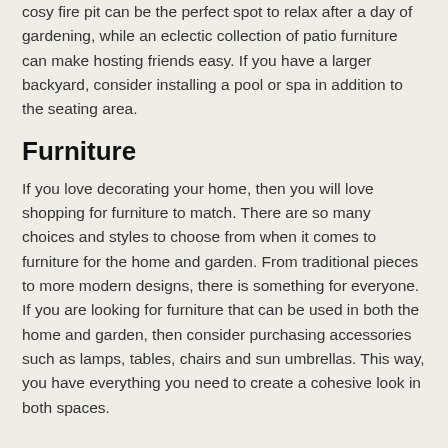cosy fire pit can be the perfect spot to relax after a day of gardening, while an eclectic collection of patio furniture can make hosting friends easy. If you have a larger backyard, consider installing a pool or spa in addition to the seating area.
Furniture
If you love decorating your home, then you will love shopping for furniture to match. There are so many choices and styles to choose from when it comes to furniture for the home and garden. From traditional pieces to more modern designs, there is something for everyone. If you are looking for furniture that can be used in both the home and garden, then consider purchasing accessories such as lamps, tables, chairs and sun umbrellas. This way, you have everything you need to create a cohesive look in both spaces.